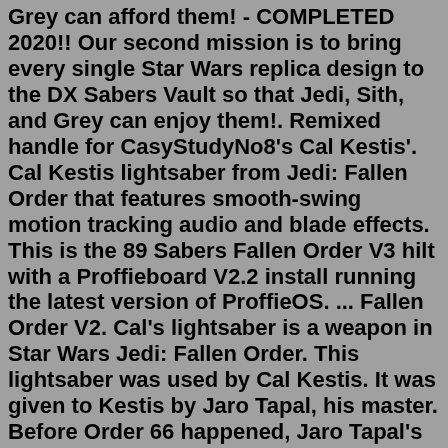Grey can afford them! - COMPLETED 2020!! Our second mission is to bring every single Star Wars replica design to the DX Sabers Vault so that Jedi, Sith, and Grey can enjoy them!. Remixed handle for CasyStudyNo8's Cal Kestis'. Cal Kestis lightsaber from Jedi: Fallen Order that features smooth-swing motion tracking audio and blade effects. This is the 89 Sabers Fallen Order V3 hilt with a Proffieboard V2.2 install running the latest version of ProffieOS. ... Fallen Order V2. Cal's lightsaber is a weapon in Star Wars Jedi: Fallen Order. This lightsaber was used by Cal Kestis. It was given to Kestis by Jaro Tapal, his master. Before Order 66 happened, Jaro Tapal's lightsaber was a two bladed lightsaber. When Order 66 started, Jaro Tapal and Cal Kestis were trying to get to an escape pod. Game: Jedi: Fallen OrderCharacter: Cal KestisWeapon: LightsaberManufacturer: 89 SabersPublisher: Korbanth SabersHilt-Name: The FallenAvailable here:https://w. FALLEN MASTER SABER Hero (Obi-Wan Kenobi) Neopixel lightsaber - EUR 436,18.